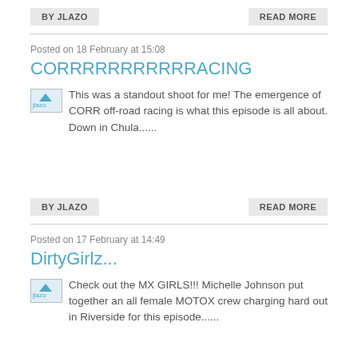BY JLAZO
READ MORE
Posted on 18 February at 15:08
CORRRRRRRRRRRACING
This was a standout shoot for me!  The emergence of CORR off-road racing is what this episode is all about.  Down in Chula......
BY JLAZO
READ MORE
Posted on 17 February at 14:49
DirtyGirlz...
Check out the MX GIRLS!!!  Michelle Johnson put together an all female MOTOX crew charging hard out in Riverside for this episode......